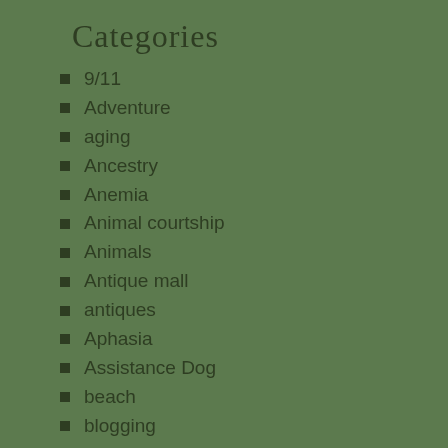Categories
9/11
Adventure
aging
Ancestry
Anemia
Animal courtship
Animals
Antique mall
antiques
Aphasia
Assistance Dog
beach
blogging
Book publishing